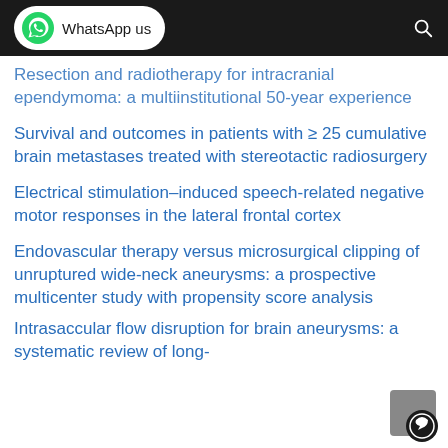WhatsApp us
Resection and radiotherapy for intracranial ependymoma: a multiinstitutional 50-year experience
Survival and outcomes in patients with ≥ 25 cumulative brain metastases treated with stereotactic radiosurgery
Electrical stimulation–induced speech-related negative motor responses in the lateral frontal cortex
Endovascular therapy versus microsurgical clipping of unruptured wide-neck aneurysms: a prospective multicenter study with propensity score analysis
Intrasaccular flow disruption for brain aneurysms: a systematic review of long-